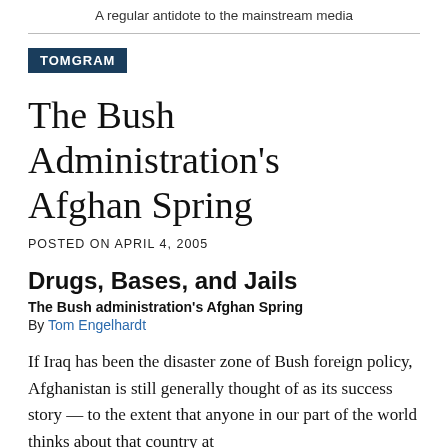A regular antidote to the mainstream media
TOMGRAM
The Bush Administration's Afghan Spring
POSTED ON APRIL 4, 2005
Drugs, Bases, and Jails
The Bush administration's Afghan Spring
By Tom Engelhardt
If Iraq has been the disaster zone of Bush foreign policy, Afghanistan is still generally thought of as its success story — to the extent that anyone in our part of the world thinks about that country at